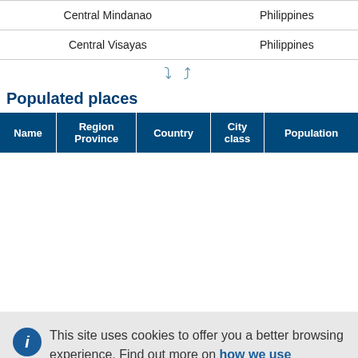|  |  |
| --- | --- |
| Central Mindanao | Philippines |
| Central Visayas | Philippines |
Populated places
| Name | Region Province | Country | City class | Population |
| --- | --- | --- | --- | --- |
This site uses cookies to offer you a better browsing experience. Find out more on how we use cookies.
Accept all cookies
Accept only essential cookies